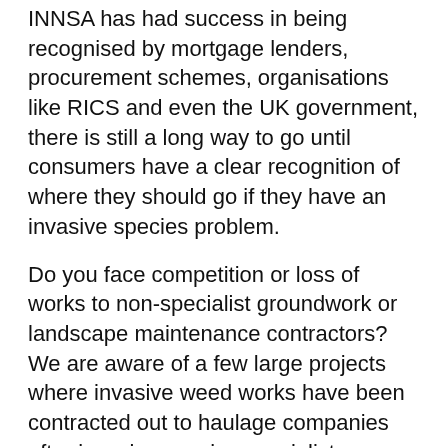INNSA has had success in being recognised by mortgage lenders, procurement schemes, organisations like RICS and even the UK government, there is still a long way to go until consumers have a clear recognition of where they should go if they have an invasive species problem.
Do you face competition or loss of works to non-specialist groundwork or landscape maintenance contractors? We are aware of a few large projects where invasive weed works have been contracted out to haulage companies after invasive species specialists provided detailed reports and specifications (in some cases including Japanese knotweed management plans, risk assessments and method statements).
INNSA and other bodies, including the Amenity Standard work to attain preferred status for our